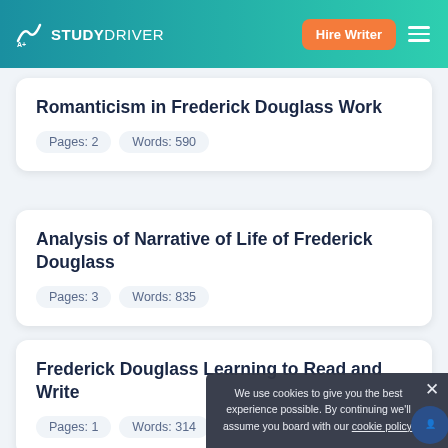STUDYDRIVER — Hire Writer
Romanticism in Frederick Douglass Work
Pages: 2   Words: 590
Analysis of Narrative of Life of Frederick Douglass
Pages: 3   Words: 835
Frederick Douglass Learning to Read and Write
Pages: 1   Words: 314
We use cookies to give you the best experience possible. By continuing we'll assume you board with our cookie policy.